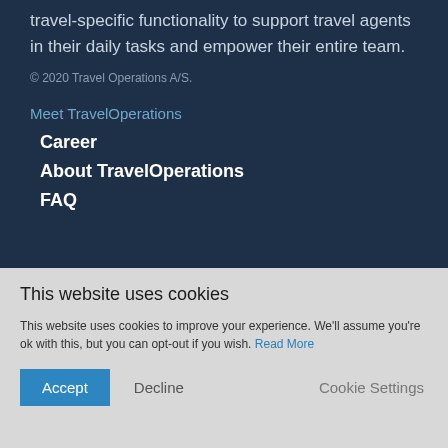travel-specific functionality to support travel agents in their daily tasks and empower their entire team.
© 2020 Travel Operations A/S.
Meet TravelOperations
Career
About TravelOperations
FAQ
This website uses cookies
This website uses cookies to improve your experience. We'll assume you're ok with this, but you can opt-out if you wish. Read More
Accept  Decline  Cookie Settings